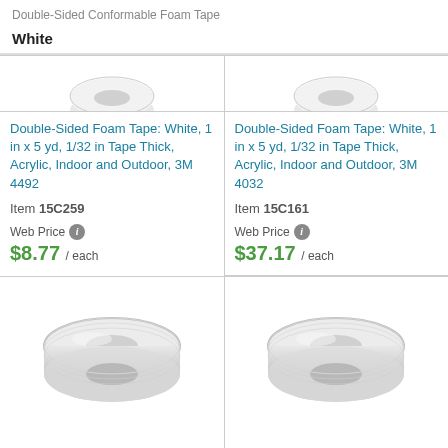Double-Sided Conformable Foam Tape
White
[Figure (photo): Top portion of white foam tape roll (left product, cropped)]
[Figure (photo): Top portion of white foam tape roll (right product, cropped)]
Double-Sided Foam Tape: White, 1 in x 5 yd, 1/32 in Tape Thick, Acrylic, Indoor and Outdoor, 3M 4492
Double-Sided Foam Tape: White, 1 in x 5 yd, 1/32 in Tape Thick, Acrylic, Indoor and Outdoor, 3M 4032
Item 15C259
Item 15C161
Web Price $8.77 / each
Web Price $37.17 / each
[Figure (photo): White double-sided foam tape roll, full view, left product]
[Figure (photo): White double-sided foam tape roll, full view, right product]